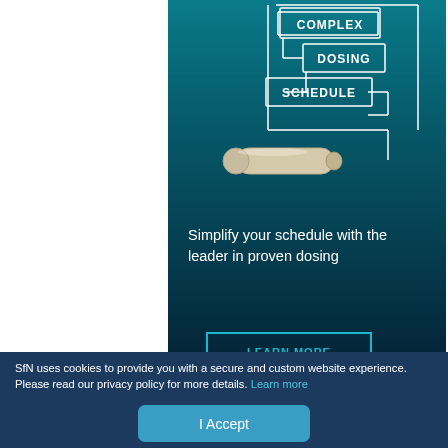[Figure (illustration): Advertisement for ALZET osmotic pumps. Dark teal/navy gradient background with outlined bracket/channel graphic labeled COMPLEX DOSING SCHEDULE. Shows a small cylindrical osmotic pump device. Text reads: Simplify your schedule with the leader in proven dosing. LEARN MORE button. ALZET OSMOTIC PUMPS logo at bottom.]
SfN uses cookies to provide you with a secure and custom website experience. Please read our privacy policy for more details. Learn more
I Accept